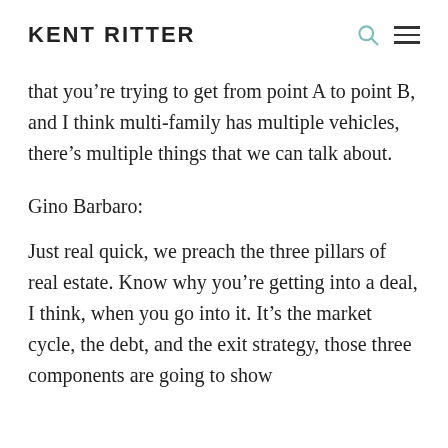KENT RITTER
that you’re trying to get from point A to point B, and I think multi-family has multiple vehicles, there’s multiple things that we can talk about.
Gino Barbaro:
Just real quick, we preach the three pillars of real estate. Know why you’re getting into a deal, I think, when you go into it. It’s the market cycle, the debt, and the exit strategy, those three components are going to show